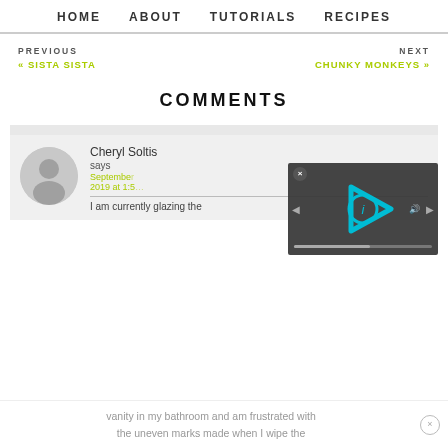HOME   ABOUT   TUTORIALS   RECIPES
PREVIOUS
« SISTA SISTA
NEXT
CHUNKY MONKEYS »
COMMENTS
[Figure (photo): Default avatar icon — grey circle with silhouette of a person]
Cheryl Soltis
says
September …
2019 at 1:5…
[Figure (screenshot): Video player overlay with teal play button icon and close (x) button, with a progress bar at the bottom]
I am currently glazing the
vanity in my bathroom and am frustrated with
the uneven marks made when I wipe the